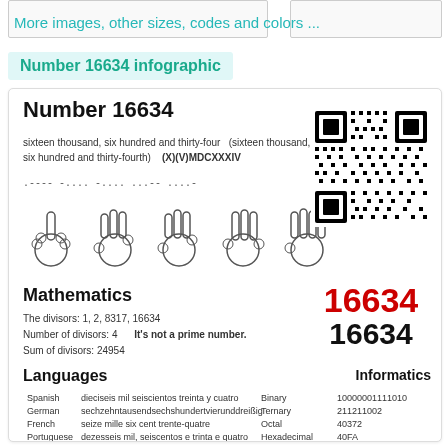[Figure (other): Two image placeholder boxes at top]
More images, other sizes, codes and colors ...
Number 16634 infographic
Number 16634
sixteen thousand, six hundred and thirty-four  (sixteen thousand, six hundred and thirty-fourth)   (X)(V)MDCXXXIV
.---- -.... -.... ...-- ....-
[Figure (illustration): Five hand sign illustrations showing digits 1,6,6,3,4]
[Figure (other): QR code for number 16634]
Mathematics
16634
16634
The divisors: 1, 2, 8317, 16634
Number of divisors: 4     It's not a prime number.
Sum of divisors: 24954
Languages
| Language | Name |
| --- | --- |
| Spanish | dieciseis mil seiscientos treinta y cuatro |
| German | sechzehntausendsechshundertvierunddreißig |
| French | seize mille six cent trente-quatre |
| Portuguese | dezesseis mil, seiscentos e trinta e quatro |
| Chinese | 一万六千六百三十四 |
Informatics
| Type | Value |
| --- | --- |
| Binary | 10000001111010 |
| Ternary | 211211002 |
| Octal | 40372 |
| Hexadecimal | 40FA |
| BASE64 | MTY2MzQ= |